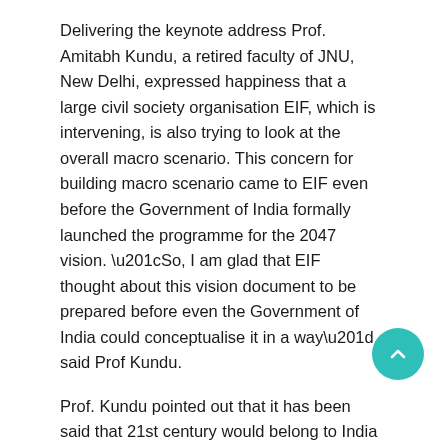Delivering the keynote address Prof. Amitabh Kundu, a retired faculty of JNU, New Delhi, expressed happiness that a large civil society organisation EIF, which is intervening, is also trying to look at the overall macro scenario. This concern for building macro scenario came to EIF even before the Government of India formally launched the programme for the 2047 vision. “So, I am glad that EIF thought about this vision document to be prepared before even the Government of India could conceptualise it in a way”, said Prof Kundu.
Prof. Kundu pointed out that it has been said that 21st century would belong to India while Prime Minister Narendra Modi had also claimed that India will achieve a five trillion economy. However,